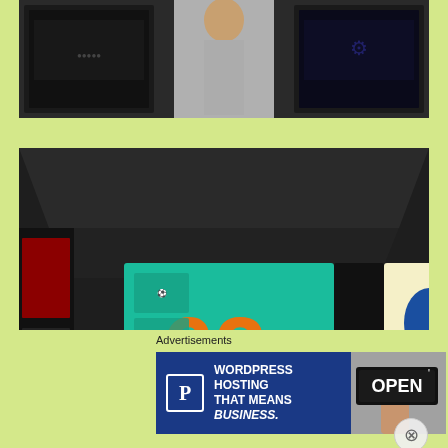[Figure (photo): Top strip composite photo showing museum exhibit displays - dark screens and exhibit panels visible]
[Figure (photo): Museum exhibit interior showing illuminated display panels featuring Chile 62 and 1958 FIFA World Cup historical graphics - teal panel with '62' and Chile text, blue and yellow panel with 1958 football artwork, display cases in foreground, coin medallion visible on right]
Advertisements
[Figure (photo): Advertisement banner for WordPress Hosting - navy blue background with white 'P' icon in box, text 'WORDPRESS HOSTING THAT MEANS BUSINESS.' in bold white, right side shows person holding OPEN sign]